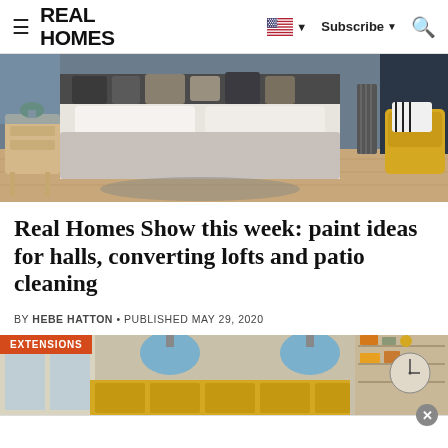REAL HOMES | Subscribe
[Figure (photo): Bedroom scene with grey bedding, wooden nightstand with plants, dark navy wall, yellow armchair, and radiator]
Real Homes Show this week: paint ideas for halls, converting lofts and patio cleaning
BY HEBE HATTON • PUBLISHED MAY 29, 2020
[Figure (photo): Kitchen/dining room extension with blue pendant lights, yellow cabinetry, wall clock, and shelving with decorative items. EXTENSIONS badge in top left.]